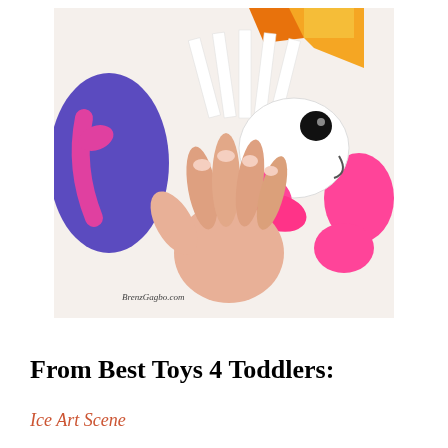[Figure (photo): A hand holding a paper craft fish made from folded white paper strips with pink circular fins and a black eye, against a colorful background with other paper crafts including purple and blue shapes.]
From Best Toys 4 Toddlers:
Ice Art Scene